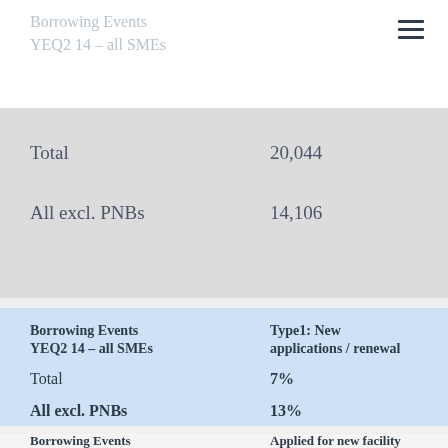Borrowing Events YEQ2 14 – all SMEs / Outright Declinables
|  |  |
| --- | --- |
| Total | 20,044 |
| All excl. PNBs | 14,106 |
| Borrowing Events YEQ2 14 – all SMEs | Type1: New applications / renewal |
| --- | --- |
| Total | 7% |
| All excl. PNBs | 13% |
| Borrowing Events | Applied for new facility |
| --- | --- |